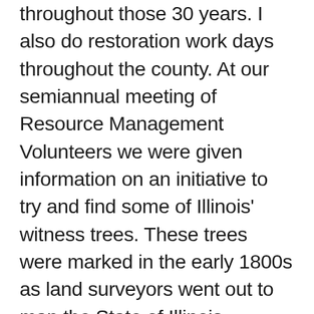throughout those 30 years.  I also do restoration work days throughout the county.  At our semiannual meeting of Resource Management Volunteers we were given information on an initiative to try and find some of Illinois' witness trees.  These trees were marked in the early 1800s as land surveyors went out to map the State of Illinois.  Several volunteers decided to take the challenge and go to sites to try to find some of these witness trees.  At my site there were several white oaks and a sugar maple.  After studying the information at the witness tree website, I had a feeling I knew where one of those trees might be.